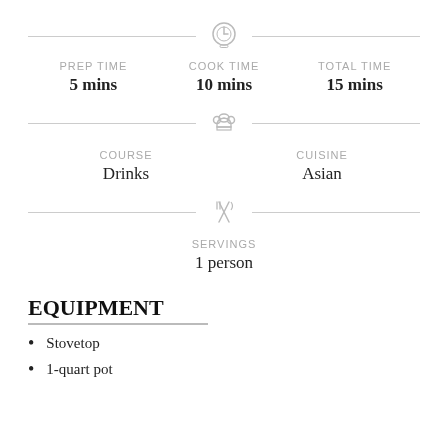[Figure (infographic): Timer clock icon centered between two horizontal divider lines]
PREP TIME 5 mins | COOK TIME 10 mins | TOTAL TIME 15 mins
[Figure (infographic): Chef hat icon centered between two horizontal divider lines]
COURSE Drinks | CUISINE Asian
[Figure (infographic): Fork and knife crossed icon centered between two horizontal divider lines]
SERVINGS 1 person
EQUIPMENT
Stovetop
1-quart pot